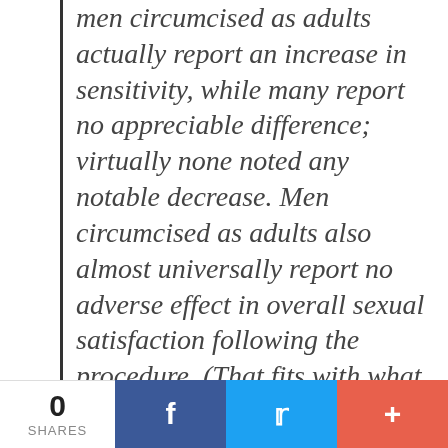men circumcised as adults actually report an increase in sensitivity, while many report no appreciable difference; virtually none noted any notable decrease. Men circumcised as adults also almost universally report no adverse effect in overall sexual satisfaction following the procedure. (That fits with what my colleague Emily Bazelon found when she asked readers for their circumcision stories a few years ago.) And genital sensitivity in response to erotic stimulation is identical in circumcised and uncircumcised men
0 SHARES | f | t | +